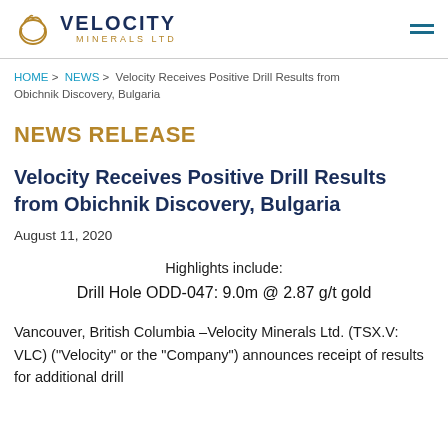VELOCITY MINERALS LTD
HOME > NEWS > Velocity Receives Positive Drill Results from Obichnik Discovery, Bulgaria
NEWS RELEASE
Velocity Receives Positive Drill Results from Obichnik Discovery, Bulgaria
August 11, 2020
Highlights include:
Drill Hole ODD-047: 9.0m @ 2.87 g/t gold
Vancouver, British Columbia –Velocity Minerals Ltd. (TSX.V: VLC) ("Velocity" or the "Company") announces receipt of results for additional drill